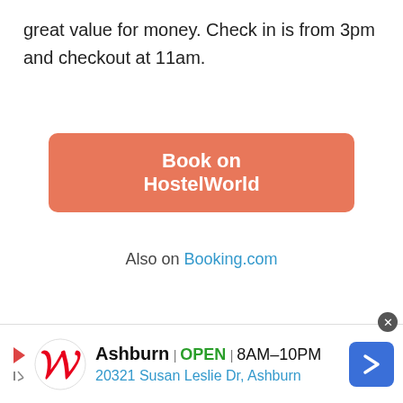great value for money. Check in is from 3pm and checkout at 11am.
Book on HostelWorld
Also on Booking.com
BEST CHILLED HOSTEL #2: ASTOR MUSEUM INN
[Figure (infographic): Walgreens advertisement banner showing Ashburn location, OPEN 8AM-10PM, 20321 Susan Leslie Dr, Ashburn]